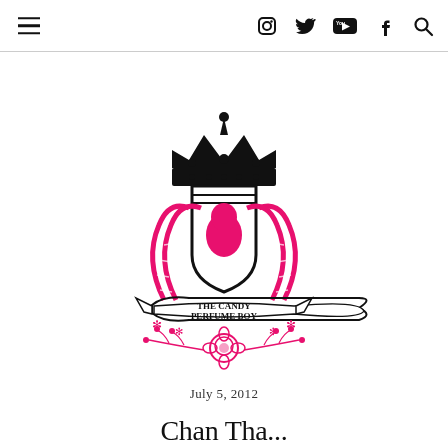Navigation header with hamburger menu and social icons: Instagram, Twitter, YouTube, Facebook, Search
[Figure (logo): The Candy Perfume Boy logo: heraldic crest with black crown at top, shield with pink silhouette head, crossed candy canes in pink, banner reading 'THE CANDY PERFUME BOY', and pink floral/rose decoration below]
July 5, 2012
Chan Tha...